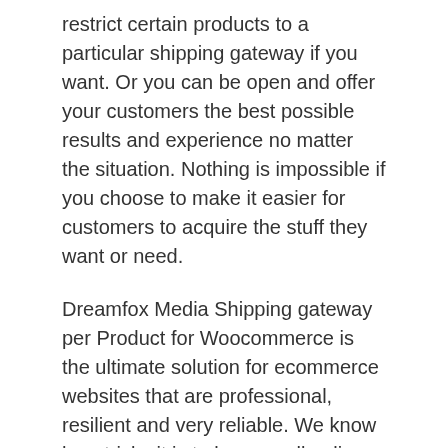restrict certain products to a particular shipping gateway if you want. Or you can be open and offer your customers the best possible results and experience no matter the situation. Nothing is impossible if you choose to make it easier for customers to acquire the stuff they want or need.
Dreamfox Media Shipping gateway per Product for Woocommerce is the ultimate solution for ecommerce websites that are professional, resilient and very reliable. We know how tricky it is to buy or sell online, and we really want to eliminate the hassle. We make it easier for your store to sell items to customers and they get to pick how they want to pay without worries. Your WooCommerce store will get a lot more leads and customers if you use such a system, so check it out today
Dreamfox Media Shipping gateway per Product for Woocommerce premium